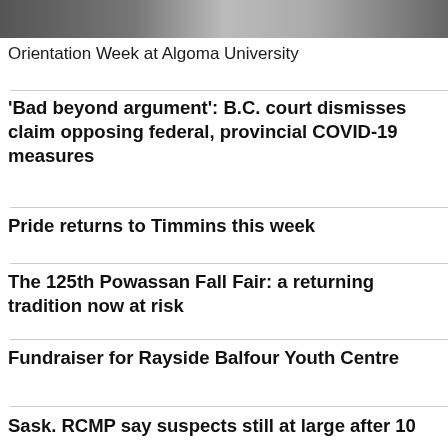[Figure (photo): Photo strip at top of news listing page, partially visible image.]
Orientation Week at Algoma University
'Bad beyond argument': B.C. court dismisses claim opposing federal, provincial COVID-19 measures
Pride returns to Timmins this week
The 125th Powassan Fall Fair: a returning tradition now at risk
Fundraiser for Rayside Balfour Youth Centre
Sask. RCMP say suspects still at large after 10